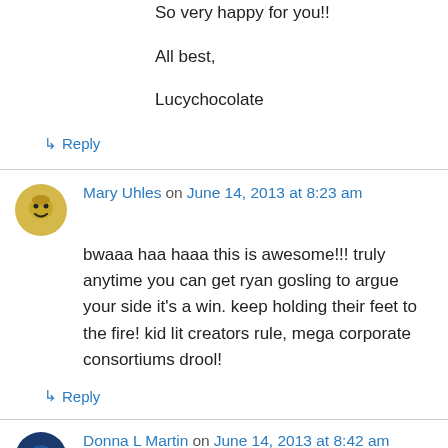So very happy for you!!
All best,
Lucychocolate
↳ Reply
Mary Uhles on June 14, 2013 at 8:23 am
bwaaa haa haaa this is awesome!!! truly anytime you can get ryan gosling to argue your side it's a win. keep holding their feet to the fire! kid lit creators rule, mega corporate consortiums drool!
↳ Reply
Donna L Martin on June 14, 2013 at 8:42 am